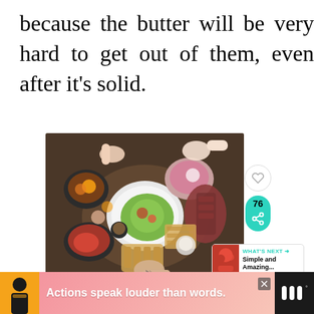because the butter will be very hard to get out of them, even after it's solid.
[Figure (photo): Overhead view of a table spread with many dishes of food, people's hands reaching in to share the meal]
[Figure (screenshot): Social sidebar with heart icon and count 76, and share button in teal, plus a What's Next panel showing 'Simple and Amazing...']
[Figure (screenshot): Advertisement bar at the bottom: dark background with figure, pink gradient area with text 'Actions speak louder than words.' and a logo on the right]